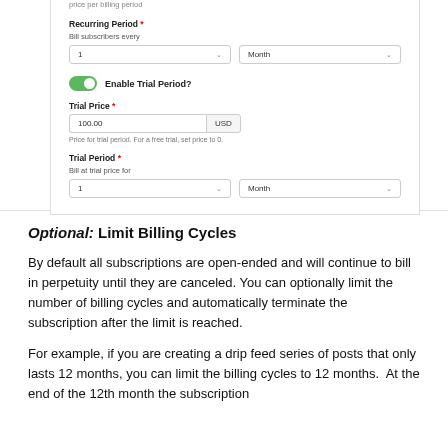[Figure (screenshot): UI screenshot showing a subscription billing form with Recurring Period field (Bill subscribers every: 1, Month), Enable Trial Period toggle (on), Trial Price field (100.00 USD), hint text 'Price for trial period. For a free trial, set price to 0.', and Trial Period field (Bill at trial price for: 1, Month)]
Optional: Limit Billing Cycles
By default all subscriptions are open-ended and will continue to bill in perpetuity until they are canceled. You can optionally limit the number of billing cycles and automatically terminate the subscription after the limit is reached.
For example, if you are creating a drip feed series of posts that only lasts 12 months, you can limit the billing cycles to 12 months.  At the end of the 12th month the subscription